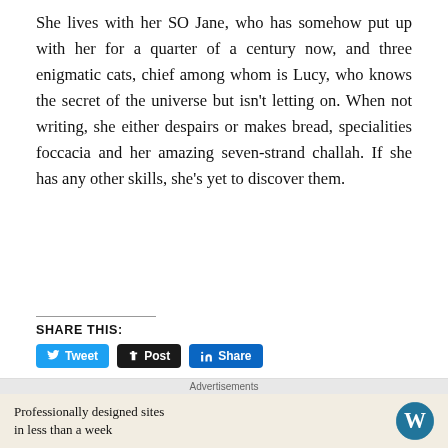She lives with her SO Jane, who has somehow put up with her for a quarter of a century now, and three enigmatic cats, chief among whom is Lucy, who knows the secret of the universe but isn't letting on. When not writing, she either despairs or makes bread, specialities foccacia and her amazing seven-strand challah. If she has any other skills, she's yet to discover them.
SHARE THIS:
[Figure (screenshot): Social sharing buttons: Tweet (Twitter/blue), Post (Tumblr/dark), Share (LinkedIn/blue), Pocket with count 0, Save (Pinterest/red), Email, Print]
[Figure (infographic): Advertisement banner: 'Professionally designed sites in less than a week' with WordPress logo]